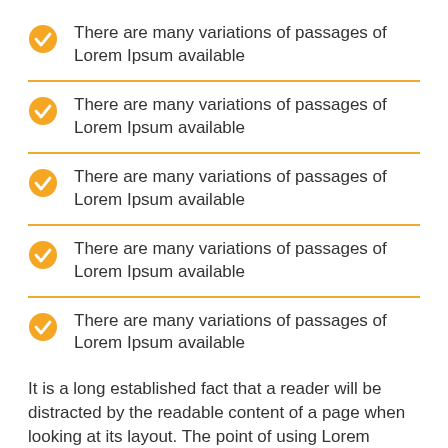There are many variations of passages of Lorem Ipsum available
There are many variations of passages of Lorem Ipsum available
There are many variations of passages of Lorem Ipsum available
There are many variations of passages of Lorem Ipsum available
There are many variations of passages of Lorem Ipsum available
It is a long established fact that a reader will be distracted by the readable content of a page when looking at its layout. The point of using Lorem Ipsum is that it has a more-or-less normal distribution of letters, as opposed to using